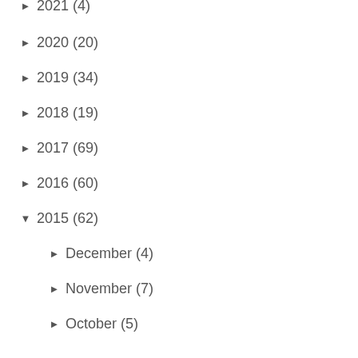▶ 2021 (4)
▶ 2020 (20)
▶ 2019 (34)
▶ 2018 (19)
▶ 2017 (69)
▶ 2016 (60)
▼ 2015 (62)
▶ December (4)
▶ November (7)
▶ October (5)
▶ September (6)
▶ August (3)
▶ July (3)
▼ June (3)
This and That Through the Unplanned Blog Break
Moss: Up Close and Personal
Depends on How You Look At It
▶ May (5)